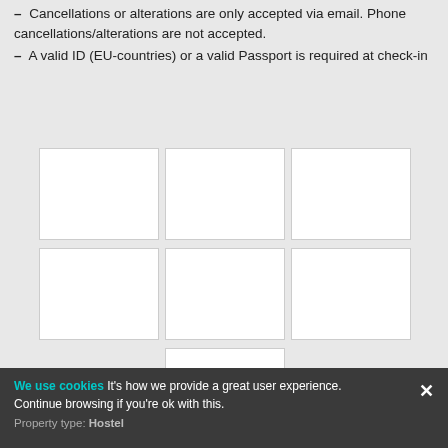– Cancellations or alterations are only accepted via email. Phone cancellations/alterations are not accepted.
– A valid ID (EU-countries) or a valid Passport is required at check-in
[Figure (photo): Grid of 7 placeholder photo cells (3+3+1 layout) showing empty white boxes representing hotel/hostel photos]
We use cookies It's how we provide a great user experience. Continue browsing if you're ok with this.
Property type: Hostel